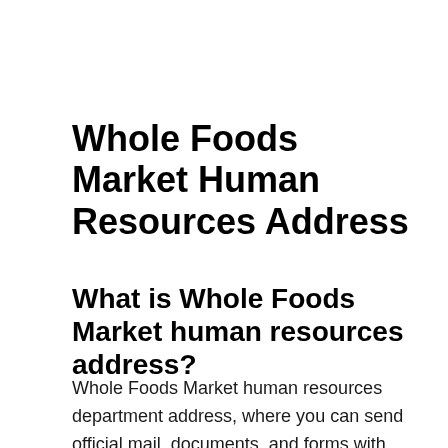Whole Foods Market Human Resources Address
What is Whole Foods Market human resources address?
Whole Foods Market human resources department address, where you can send official mail, documents, and forms with regards to Whole Foods Market